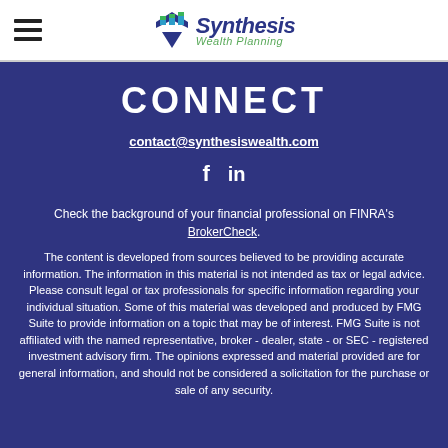Synthesis Wealth Planning
CONNECT
contact@synthesiswealth.com
[Figure (illustration): Facebook and LinkedIn social media icons]
Check the background of your financial professional on FINRA's BrokerCheck.
The content is developed from sources believed to be providing accurate information. The information in this material is not intended as tax or legal advice. Please consult legal or tax professionals for specific information regarding your individual situation. Some of this material was developed and produced by FMG Suite to provide information on a topic that may be of interest. FMG Suite is not affiliated with the named representative, broker - dealer, state - or SEC - registered investment advisory firm. The opinions expressed and material provided are for general information, and should not be considered a solicitation for the purchase or sale of any security.